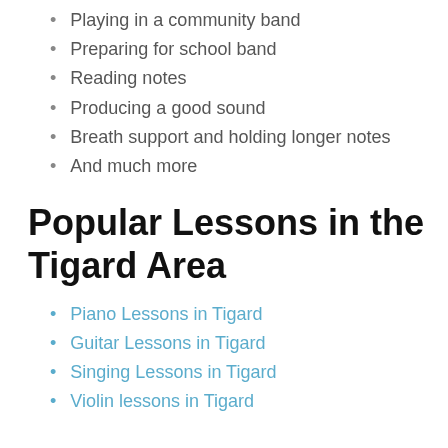Playing in a community band
Preparing for school band
Reading notes
Producing a good sound
Breath support and holding longer notes
And much more
Popular Lessons in the Tigard Area
Piano Lessons in Tigard
Guitar Lessons in Tigard
Singing Lessons in Tigard
Violin lessons in Tigard